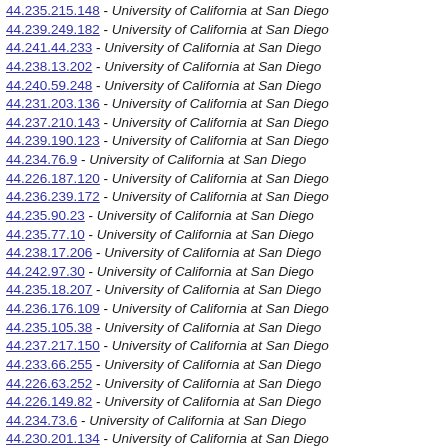44.235.215.148 - University of California at San Diego
44.239.249.182 - University of California at San Diego
44.241.44.233 - University of California at San Diego
44.238.13.202 - University of California at San Diego
44.240.59.248 - University of California at San Diego
44.231.203.136 - University of California at San Diego
44.237.210.143 - University of California at San Diego
44.239.190.123 - University of California at San Diego
44.234.76.9 - University of California at San Diego
44.226.187.120 - University of California at San Diego
44.236.239.172 - University of California at San Diego
44.235.90.23 - University of California at San Diego
44.235.77.10 - University of California at San Diego
44.238.17.206 - University of California at San Diego
44.242.97.30 - University of California at San Diego
44.235.18.207 - University of California at San Diego
44.236.176.109 - University of California at San Diego
44.235.105.38 - University of California at San Diego
44.237.217.150 - University of California at San Diego
44.233.66.255 - University of California at San Diego
44.226.63.252 - University of California at San Diego
44.226.149.82 - University of California at San Diego
44.234.73.6 - University of California at San Diego
44.230.201.134 - University of California at San Diego
44.234.62.251 - University of California at San Diego
44.226.217.150 - University of California at San Diego
44.231.244.177 - University of California at San Diego
44.192.0.189 - University of California at San Diego
44.229.100.33 - University of California at San Diego
44.233.13.202 - University of California at San Diego